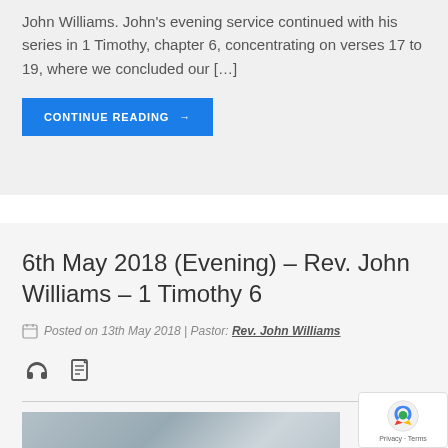John Williams. John's evening service continued with his series in 1 Timothy, chapter 6, concentrating on verses 17 to 19, where we concluded our […]
CONTINUE READING →
6th May 2018 (Evening) – Rev. John Williams – 1 Timothy 6
Posted on 13th May 2018 | Pastor: Rev. John Williams
[Figure (photo): Partial view of an open Bible, grayscale/blue-tinted photograph]